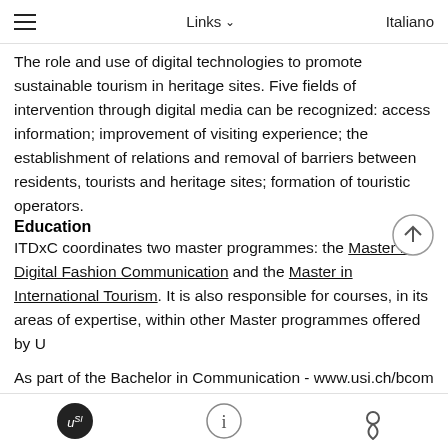≡   Links ∨   Italiano
The role and use of digital technologies to promote sustainable tourism in heritage sites. Five fields of intervention through digital media can be recognized: access information; improvement of visiting experience; the establishment of relations and removal of barriers between residents, tourists and heritage sites; formation of touristic operators.
Education
ITDxC coordinates two master programmes: the Master in Digital Fashion Communication and the Master in International Tourism. It is also responsible for courses, in its areas of expertise, within other Master programmes offered by U
As part of the Bachelor in Communication - www.usi.ch/bcom - ITDxC actively promotes the study and use of digital